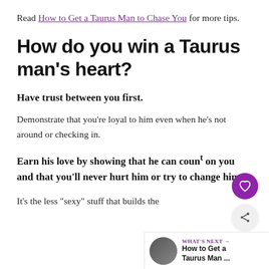Read How to Get a Taurus Man to Chase You for more tips.
How do you win a Taurus man’s heart?
Have trust between you first.
Demonstrate that you’re loyal to him even when he’s not around or checking in.
Earn his love by showing that he can count on you and that you’ll never hurt him or try to change him.
It’s the less “sexy” stuff that builds the